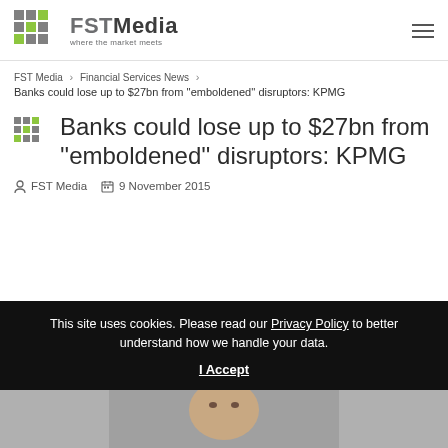FST Media — where the market meets
FST Media > Financial Services News > Banks could lose up to $27bn from "emboldened" disruptors: KPMG
Banks could lose up to $27bn from "emboldened" disruptors: KPMG
FST Media   9 November 2015
This site uses cookies. Please read our Privacy Policy to better understand how we handle your data. I Accept